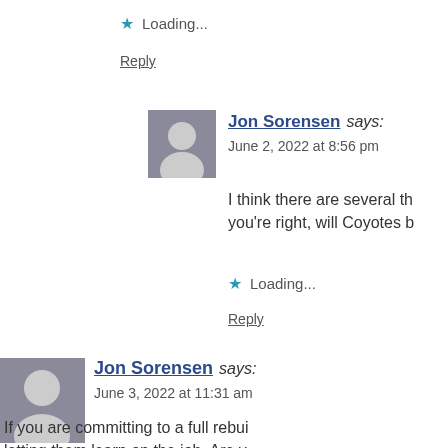Loading...
Reply
Jon Sorensen says:
June 2, 2022 at 8:56 pm
I think there are several th... you're right, will Coyotes b...
Loading...
Reply
[Figure (photo): Avatar photo of Jon Sorensen (smaller instance)]
Jon Sorensen says:
June 3, 2022 at 11:31 am
If you are committing to a full rebui... letting them learn on the job. Are y... playoffs next season? I don't belie...